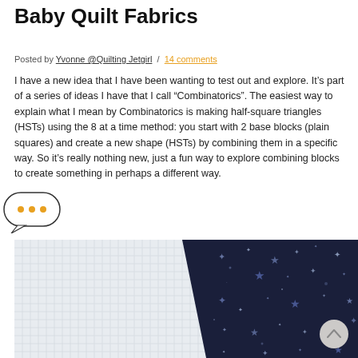Baby Quilt Fabrics
Posted by Yvonne @Quilting Jetgirl / 14 comments
I have a new idea that I have been wanting to test out and explore. It’s part of a series of ideas I have that I call “Combinatorics”. The easiest way to explain what I mean by Combinatorics is making half-square triangles (HSTs) using the 8 at a time method: you start with 2 base blocks (plain squares) and create a new shape (HSTs) by combining them in a specific way. So it’s really nothing new, just a fun way to explore combining blocks to create something in perhaps a different way.
[Figure (photo): Two pieces of fabric side by side: a white/light grey grid-pattern fabric on the left and a dark navy blue star/celestial pattern fabric on the right.]